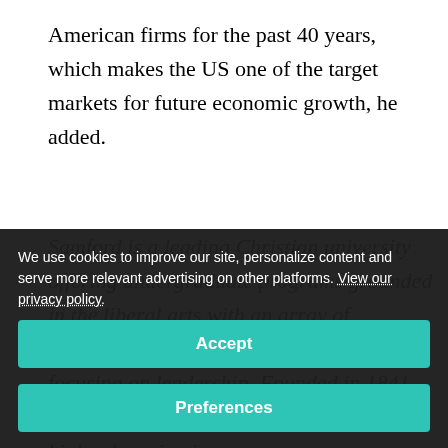American firms for the past 40 years, which makes the US one of the target markets for future economic growth, he added.
Samford is a leading Christian university offering undergraduate programs grounded in the liberal arts with an array of nationally recognized graduate degrees focusing on leadership. Founded in 1841, Samford is the 87th-oldest institution of higher learning in
We use cookies to improve our site, personalize content and serve more relevant advertising on other platforms. View our privacy policy.
Accept
Preferences